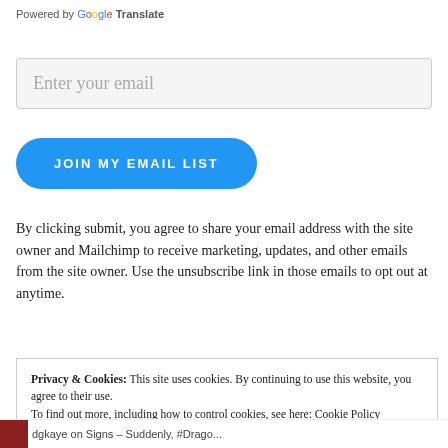Powered by Google Translate
Enter your email
JOIN MY EMAIL LIST
By clicking submit, you agree to share your email address with the site owner and Mailchimp to receive marketing, updates, and other emails from the site owner. Use the unsubscribe link in those emails to opt out at anytime.
Privacy & Cookies: This site uses cookies. By continuing to use this website, you agree to their use. To find out more, including how to control cookies, see here: Cookie Policy
Close and accept
dgkaye on Signs – Suddenly, #Drago...